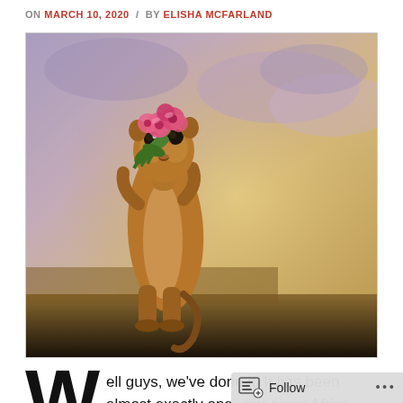ON MARCH 10, 2020 / BY ELISHA MCFARLAND
[Figure (photo): A meerkat standing upright holding a bouquet of pink flowers against a warm golden and cloudy background]
Well guys, we've done it. It has been almost exactly one year since Africa Roy's birth. One